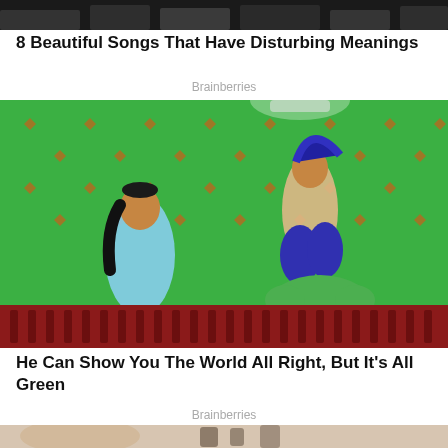[Figure (photo): Partial top view of people, dark background, cropped at top of page]
8 Beautiful Songs That Have Disturbing Meanings
Brainberries
[Figure (illustration): Animated scene of Aladdin and Jasmine against a green screen background with a green frog/creature at bottom, red decorative border at bottom]
He Can Show You The World All Right, But It's All Green
Brainberries
[Figure (photo): Partial bottom photo showing a person near bathroom items, cropped at bottom of page]